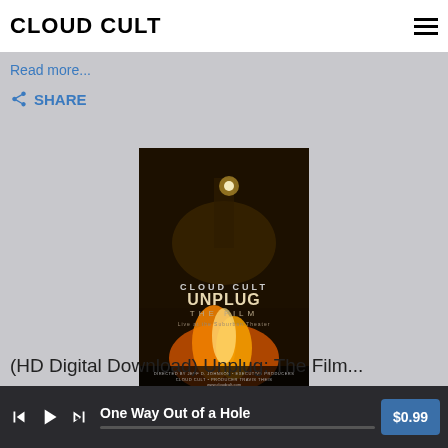CLOUD CULT
these---  'The Seeker' is a feature length film written by Cloud Cult and directed by Jeff D. Johnson.
Read more...
SHARE
[Figure (photo): Album cover for Cloud Cult Unplug The Film - Live at the Suburban Theater, showing a person playing acoustic guitar with fire in the foreground on a dark background]
(HD Digital Download) Unplug: The Film...
One Way Out of a Hole  $0.99